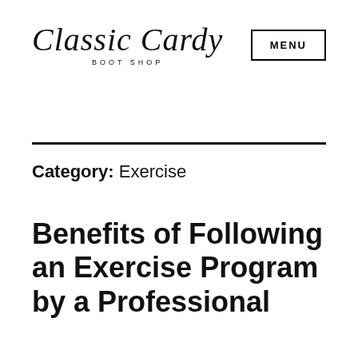[Figure (logo): Classic Cardy Boot Shop logo in script/cursive font with 'BOOT SHOP' subtitle in small caps]
MENU
Category: Exercise
Benefits of Following an Exercise Program by a Professional